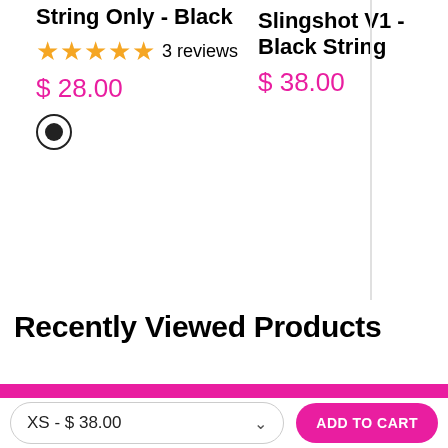String Only - Black
★★★★★ 3 reviews
$ 28.00
Slingshot V1... Black String
$ 38.00
Recently Viewed Products
XS - $ 38.00
ADD TO CART